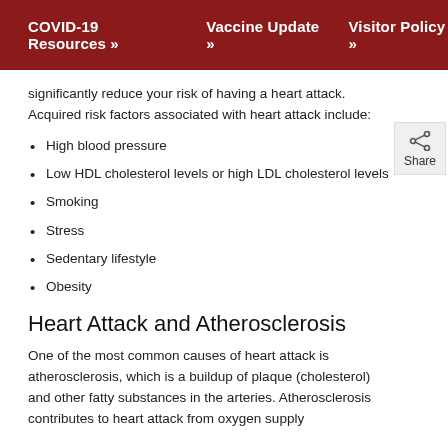COVID-19 Resources »   Vaccine Update »   Visitor Policy »
significantly reduce your risk of having a heart attack. Acquired risk factors associated with heart attack include:
High blood pressure
Low HDL cholesterol levels or high LDL cholesterol levels
Smoking
Stress
Sedentary lifestyle
Obesity
Heart Attack and Atherosclerosis
One of the most common causes of heart attack is atherosclerosis, which is a buildup of plaque (cholesterol) and other fatty substances in the arteries. Atherosclerosis contributes to heart attack from oxygen supply...